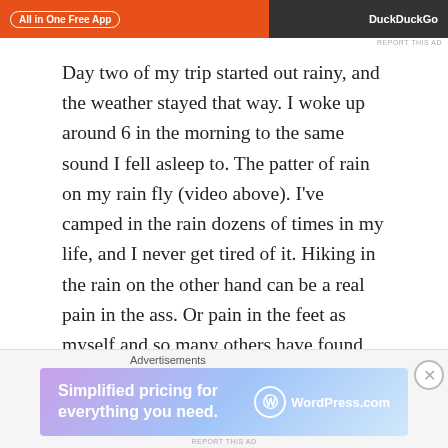[Figure (other): Top advertisement banner with orange and dark background. Left side shows 'All in One Free App' text in a pill/rounded rectangle on orange background. Right side shows 'DuckDuckGo' logo on dark background.]
Day two of my trip started out rainy, and the weather stayed that way. I woke up around 6 in the morning to the same sound I fell asleep to. The patter of rain on my rain fly (video above). I've camped in the rain dozens of times in my life, and I never get tired of it. Hiking in the rain on the other hand can be a real pain in the ass. Or pain in the feet as myself and so many others have found out the hard way. Once daylight hit I broke down my hammock and put it away, boiled water for coffee and a mountain house breakfast. I took advantage of the time my food was cooking to collect some rain water for
[Figure (other): Bottom advertisement area with label 'Advertisements' and a banner ad for WordPress.com reading 'Simplified pricing for everything you need.' with WordPress.com logo on gradient purple-blue background.]